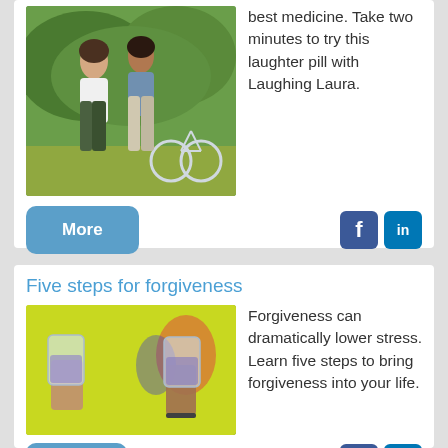[Figure (photo): Two women walking outdoors near a bicycle in a green field]
best medicine. Take two minutes to try this laughter pill with Laughing Laura.
More
Five steps for forgiveness
[Figure (photo): Two hands clinking glasses with a purple/blue drink outdoors on a yellow background]
Forgiveness can dramatically lower stress. Learn five steps to bring forgiveness into your life.